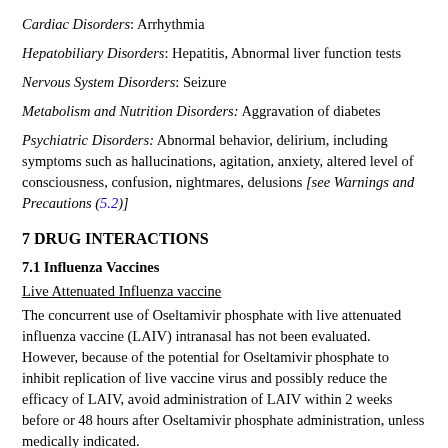Cardiac Disorders: Arrhythmia
Hepatobiliary Disorders: Hepatitis, Abnormal liver function tests
Nervous System Disorders: Seizure
Metabolism and Nutrition Disorders: Aggravation of diabetes
Psychiatric Disorders: Abnormal behavior, delirium, including symptoms such as hallucinations, agitation, anxiety, altered level of consciousness, confusion, nightmares, delusions [see Warnings and Precautions (5.2)]
7 DRUG INTERACTIONS
7.1 Influenza Vaccines
Live Attenuated Influenza vaccine
The concurrent use of Oseltamivir phosphate with live attenuated influenza vaccine (LAIV) intranasal has not been evaluated. However, because of the potential for Oseltamivir phosphate to inhibit replication of live vaccine virus and possibly reduce the efficacy of LAIV, avoid administration of LAIV within 2 weeks before or 48 hours after Oseltamivir phosphate administration, unless medically indicated.